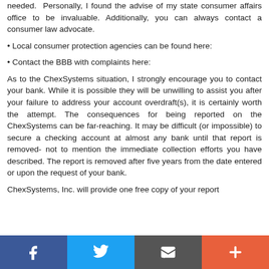needed. Personally, I found the advise of my state consumer affairs office to be invaluable. Additionally, you can always contact a consumer law advocate.
• Local consumer protection agencies can be found here:
• Contact the BBB with complaints here:
As to the ChexSystems situation, I strongly encourage you to contact your bank. While it is possible they will be unwilling to assist you after your failure to address your account overdraft(s), it is certainly worth the attempt. The consequences for being reported on the ChexSystems can be far-reaching. It may be difficult (or impossible) to secure a checking account at almost any bank until that report is removed- not to mention the immediate collection efforts you have described. The report is removed after five years from the date entered or upon the request of your bank.
ChexSystems, Inc. will provide one free copy of your report